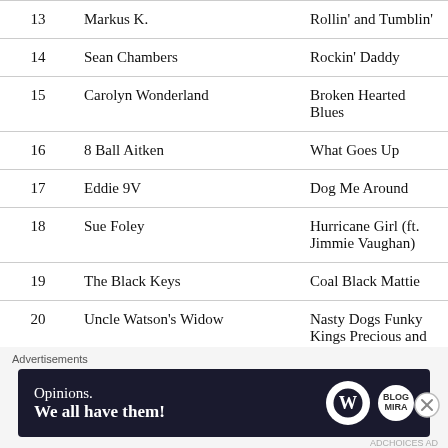| # | Artist | Song |
| --- | --- | --- |
| 13 | Markus K. | Rollin' and Tumblin' |
| 14 | Sean Chambers | Rockin' Daddy |
| 15 | Carolyn Wonderland | Broken Hearted Blues |
| 16 | 8 Ball Aitken | What Goes Up |
| 17 | Eddie 9V | Dog Me Around |
| 18 | Sue Foley | Hurricane Girl (ft. Jimmie Vaughan) |
| 19 | The Black Keys | Coal Black Mattie |
| 20 | Uncle Watson's Widow | Nasty Dogs Funky Kings Precious and |
Advertisements
[Figure (other): WordPress advertisement banner: 'Opinions. We all have them!' with WordPress and WM logos on dark navy background]